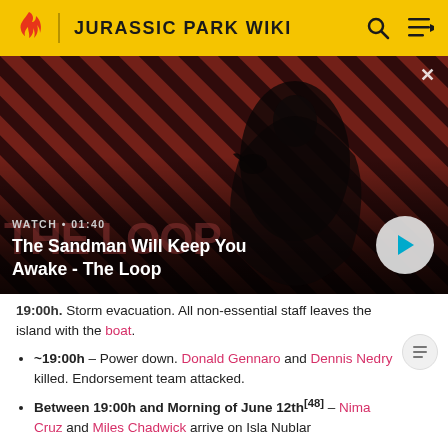JURASSIC PARK WIKI
[Figure (screenshot): Video thumbnail for 'The Sandman Will Keep You Awake - The Loop' with a dark-cloaked figure and a raven on a red-striped background. Shows WATCH • 01:40 label and a play button.]
19:00h. Storm evacuation. All non-essential staff leaves the island with the boat.
~19:00h – Power down. Donald Gennaro and Dennis Nedry killed. Endorsement team attacked.
Between 19:00h and Morning of June 12th[48] – Nima Cruz and Miles Chadwick arrive on Isla Nublar